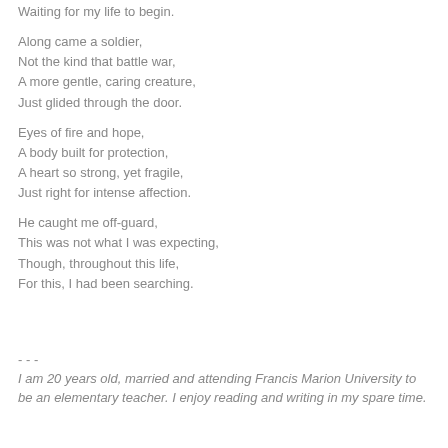Waiting for my life to begin.
Along came a soldier,
Not the kind that battle war,
A more gentle, caring creature,
Just glided through the door.
Eyes of fire and hope,
A body built for protection,
A heart so strong, yet fragile,
Just right for intense affection.
He caught me off-guard,
This was not what I was expecting,
Though, throughout this life,
For this, I had been searching.
- - -
I am 20 years old, married and attending Francis Marion University to be an elementary teacher. I enjoy reading and writing in my spare time.